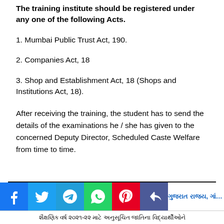The training institute should be registered under any one of the following Acts.
1. Mumbai Public Trust Act, 190.
2. Companies Act, 18
3. Shop and Establishment Act, 18 (Shops and Institutions Act, 18).
After receiving the training, the student has to send the details of the examinations he / she has given to the concerned Deputy Director, Scheduled Caste Welfare from time to time.
ગુજરાત રાજ્ય, ગાંધીનગર | શૈક્ષણિક વર્ષ ૨૦૨૧-૨૨ માટે અનુસૂચિત જાતિના વિદ્યાર્થીઓને